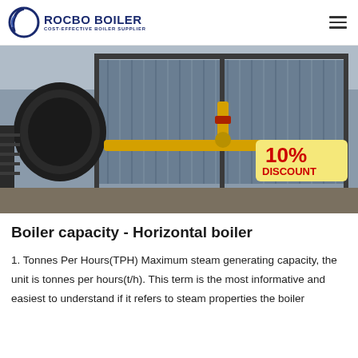ROCBO BOILER — COST-EFFECTIVE BOILER SUPPLIER
[Figure (photo): Industrial horizontal gas-fired boiler in a factory setting, with blue corrugated casing, yellow gas pipes, and a black burner on the left. A '10% DISCOUNT' badge is overlaid in the lower right corner.]
Boiler capacity - Horizontal boiler
1. Tonnes Per Hours(TPH) Maximum steam generating capacity, the unit is tonnes per hours(t/h). This term is the most informative and easiest to understand if it refers to steam properties the boiler